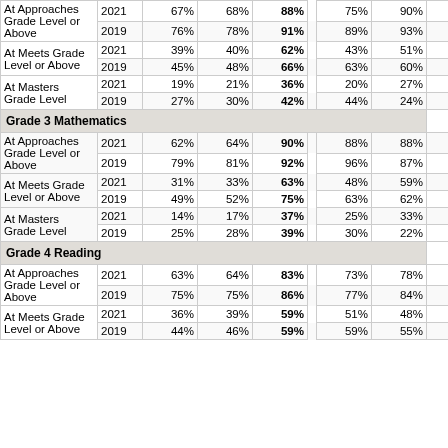|  | Year | Col1 | Col2 | Col3 | Col4 | Col5 | Col6 |
| --- | --- | --- | --- | --- | --- | --- | --- |
| At Approaches Grade Level or Above | 2021 | 67% | 68% | 88% | 75% | 90% | 92% |
| At Approaches Grade Level or Above | 2019 | 76% | 78% | 91% | 89% | 93% | 91% |
| At Meets Grade Level or Above | 2021 | 39% | 40% | 62% | 43% | 51% | 73% |
| At Meets Grade Level or Above | 2019 | 45% | 48% | 66% | 63% | 60% | 70% |
| At Masters Grade Level | 2021 | 19% | 21% | 36% | 20% | 27% | 42% |
| At Masters Grade Level | 2019 | 27% | 30% | 42% | 44% | 24% | 47% |
| Grade 3 Mathematics |  |  |  |  |  |  |  |
| At Approaches Grade Level or Above | 2021 | 62% | 64% | 90% | 88% | 88% | 93% |
| At Approaches Grade Level or Above | 2019 | 79% | 81% | 92% | 96% | 87% | 93% |
| At Meets Grade Level or Above | 2021 | 31% | 33% | 63% | 48% | 59% | 70% |
| At Meets Grade Level or Above | 2019 | 49% | 52% | 75% | 63% | 62% | 83% |
| At Masters Grade Level | 2021 | 14% | 17% | 37% | 25% | 33% | 44% |
| At Masters Grade Level | 2019 | 25% | 28% | 39% | 30% | 22% | 49% |
| Grade 4 Reading |  |  |  |  |  |  |  |
| At Approaches Grade Level or Above | 2021 | 63% | 64% | 83% | 73% | 78% | 86% |
| At Approaches Grade Level or Above | 2019 | 75% | 75% | 86% | 77% | 84% | 87% |
| At Meets Grade Level or Above | 2021 | 36% | 39% | 59% | 51% | 48% | 64% |
| At Meets Grade Level or Above | 2019 | 44% | 46% | 59% | 59% | 55% | 60% |